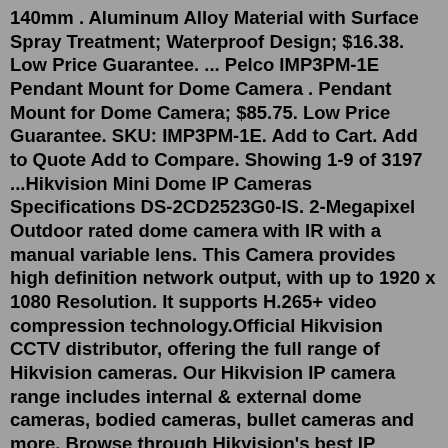140mm . Aluminum Alloy Material with Surface Spray Treatment; Waterproof Design; $16.38. Low Price Guarantee. ... Pelco IMP3PM-1E Pendant Mount for Dome Camera . Pendant Mount for Dome Camera; $85.75. Low Price Guarantee. SKU: IMP3PM-1E. Add to Cart. Add to Quote Add to Compare. Showing 1-9 of 3197 ...Hikvision Mini Dome IP Cameras Specifications DS-2CD2523G0-IS. 2-Megapixel Outdoor rated dome camera with IR with a manual variable lens. This Camera provides high definition network output, with up to 1920 x 1080 Resolution. It supports H.265+ video compression technology.Official Hikvision CCTV distributor, offering the full range of Hikvision cameras. Our Hikvision IP camera range includes internal & external dome cameras, bodied cameras, bullet cameras and more. Browse through Hikvision's best IP cameras for sale online below. Hikvision AcuSense 8MP mini dome camera with IR &...Similar Hikvision dome camera on Amazon: https://amzn.to/3z9kziA🔲🔲🔲🔲🔲 Blue Iris (Security